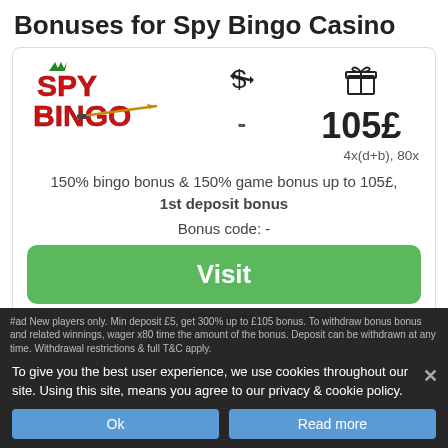Bonuses for Spy Bingo Casino
[Figure (logo): Spy Bingo Casino logo — stylized red SPY BINGO text with a dart/bullet graphic]
150% bingo bonus & 150% game bonus up to 105£, 1st deposit bonus
Bonus code: -
Visit
T&C Apply
#ad New players only. Min deposit £5, get 300% up to £105 bonus. To withdraw bonus bonus and related winnings, wager x80 time the amount of the bonus. Deposit can be withdrawn at any time. Withdrawal restrictions & full T&C apply.
To give you the best user experience, we use cookies throughout our site. Using this site, means you agree to our privacy & cookie policy.